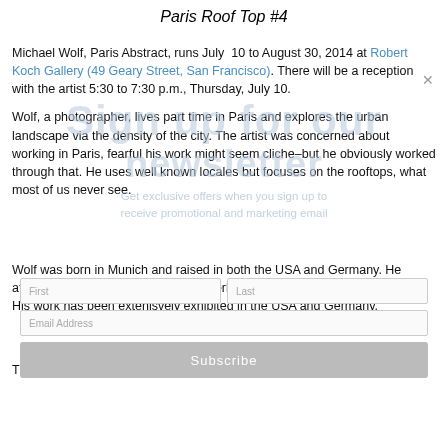Paris Roof Top #4
Michael Wolf, Paris Abstract, runs July 10 to August 30, 2014 at Robert Koch Gallery (49 Geary Street, San Francisco). There will be a reception with the artist 5:30 to 7:30 p.m., Thursday, July 10.
Wolf, a photographer, lives part time in Paris and explores the urban landscape via the density of the city. The artist was concerned about working in Paris, fearful his work might seem cliche–but he obviously worked through that. He uses well known locales but focuses on the rooftops, what most of us never see.
Wolf was born in Munich and raised in both the USA and Germany. He attended Univeristy of California at Berkeley and then University of Essen. His work has been extenisvely exhibited in the USA and Germany.
The exhibit will also include vintage images of Paris.